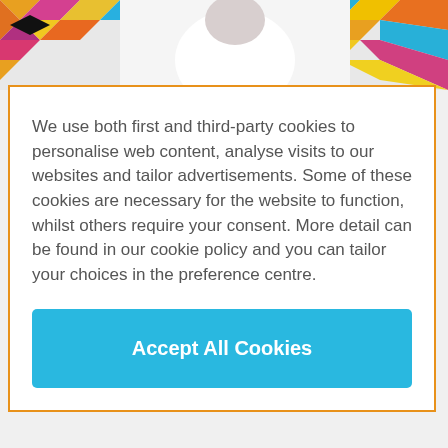[Figure (photo): Colorful geometric diamond pattern background with a person wearing a white outfit, partially visible at the top of the page]
We use both first and third-party cookies to personalise web content, analyse visits to our websites and tailor advertisements. Some of these cookies are necessary for the website to function, whilst others require your consent. More detail can be found in our cookie policy and you can tailor your choices in the preference centre.
Accept All Cookies